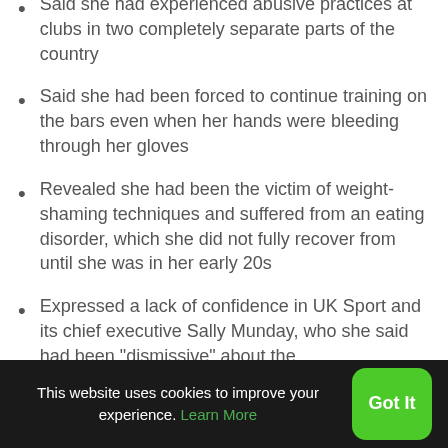Said she had experienced abusive practices at clubs in two completely separate parts of the country
Said she had been forced to continue training on the bars even when her hands were bleeding through her gloves
Revealed she had been the victim of weight-shaming techniques and suffered from an eating disorder, which she did not fully recover from until she was in her early 20s
Expressed a lack of confidence in UK Sport and its chief executive Sally Munday, who she said had been “dismissive” about the
This website uses cookies to improve your experience. Learn More  Got It